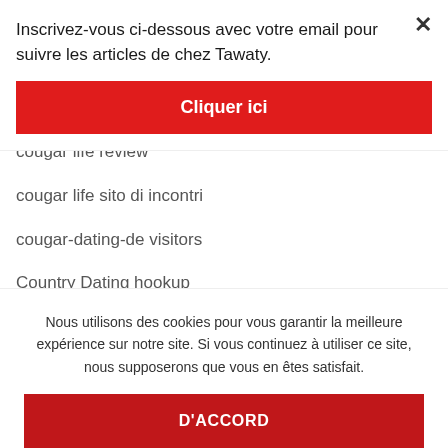Inscrivez-vous ci-dessous avec votre email pour suivre les articles de chez Tawaty.
[Figure (other): Red button labeled 'Cliquer ici']
cougar life review
cougar life sito di incontri
cougar-dating-de visitors
Country Dating hookup
Country Dating sites pour adultes
Nous utilisons des cookies pour vous garantir la meilleure expérience sur notre site. Si vous continuez à utiliser ce site, nous supposerons que vous en êtes satisfait.
[Figure (other): Red button labeled 'D'ACCORD']
countrymatch meet site